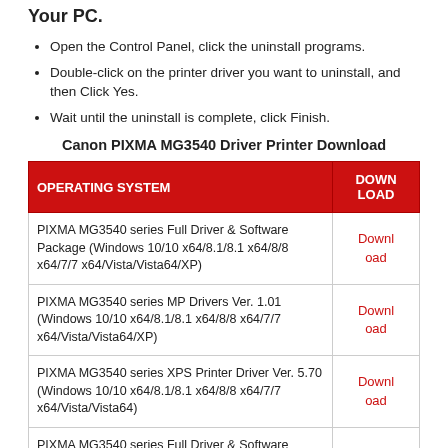Your PC.
Open the Control Panel, click the uninstall programs.
Double-click on the printer driver you want to uninstall, and then Click Yes.
Wait until the uninstall is complete, click Finish.
Canon PIXMA MG3540 Driver Printer Download
| OPERATING SYSTEM | DOWNLOAD |
| --- | --- |
| PIXMA MG3540 series Full Driver & Software Package (Windows 10/10 x64/8.1/8.1 x64/8/8 x64/7/7 x64/Vista/Vista64/XP) | Download |
| PIXMA MG3540 series MP Drivers Ver. 1.01 (Windows 10/10 x64/8.1/8.1 x64/8/8 x64/7/7 x64/Vista/Vista64/XP) | Download |
| PIXMA MG3540 series XPS Printer Driver Ver. 5.70 (Windows 10/10 x64/8.1/8.1 x64/8/8 x64/7/7 x64/Vista/Vista64) | Download |
| PIXMA MG3540 series Full Driver & Software Package | Downl |